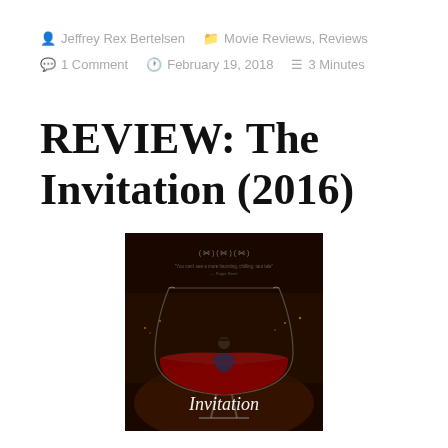Jeffrey Rex Bertelsen   Movie Reviews, Reviews   1 Comment   February 19, 2018   3 Minutes
REVIEW: The Invitation (2016)
[Figure (photo): Movie poster for The Invitation (2016) showing a person standing inside a large wine glass filled with red wine, with festival laurels and text at top, and 'Invitation' in white text at bottom on a dark background.]